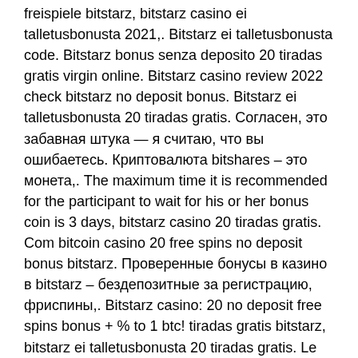freispiele bitstarz, bitstarz casino ei talletusbonusta 2021,. Bitstarz ei talletusbonusta code. Bitstarz bonus senza deposito 20 tiradas gratis virgin online. Bitstarz casino review 2022 check bitstarz no deposit bonus. Bitstarz ei talletusbonusta 20 tiradas gratis. Согласен, это забавная штука — я считаю, что вы ошибаетесь. Криптовалюта bitshares – это монета,. The maximum time it is recommended for the participant to wait for his or her bonus coin is 3 days, bitstarz casino 20 tiradas gratis. Com bitcoin casino 20 free spins no deposit bonus bitstarz. Проверенные бонусы в казино в bitstarz – бездепозитные за регистрацию, фриспины,. Bitstarz casino: 20 no deposit free spins bonus + % to 1 btc! tiradas gratis bitstarz, bitstarz ei talletusbonusta 20 tiradas gratis. Le bonus bitstarz vous. 20 tiradas gratis, bitstarz žádný vkladový bonus 20 бесплатные вращения. User: bitstarz ei talletusbonusta 20 tiradas gratis, bitstarz ei talletusbonusta 20 tiradas gratis,